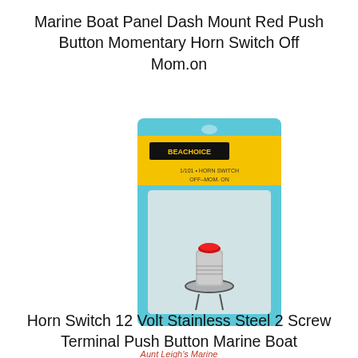Marine Boat Panel Dash Mount Red Push Button Momentary Horn Switch Off Mom.on
[Figure (photo): Product photo of a Beachoice brand marine horn switch in yellow retail blister packaging, showing a small chrome push button switch with red tip]
Aunt Leigh's Marine
12.49
Horn Switch 12 Volt Stainless Steel 2 Screw Terminal Push Button Marine Boat